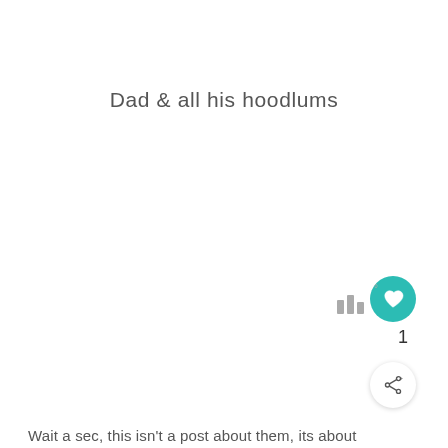Dad & all his hoodlums
[Figure (illustration): Teal circular heart/like button with white heart icon, a count of 1, three vertical bar icons with degree symbol, and a white circular share button with share icon]
Wait a sec, this isn't a post about them, its about